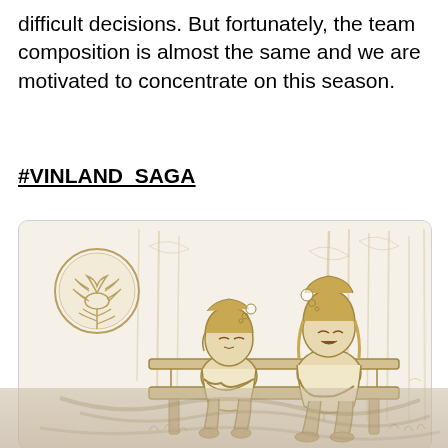difficult decisions. But fortunately, the team composition is almost the same and we are motivated to concentrate on this season.
#VINLAND_SAGA
[Figure (illustration): Manga/anime style illustration in sepia/gold tones showing two characters sitting on a bench outdoors. The left character has shorter hair and is hunched forward with a small thought bubble. The right character has longer hair and is leaning back with head tilted up and a thought bubble. In the upper left is a circular emblem with a floral/plant design. The background shows trees and vegetation sketched in a loose style.]